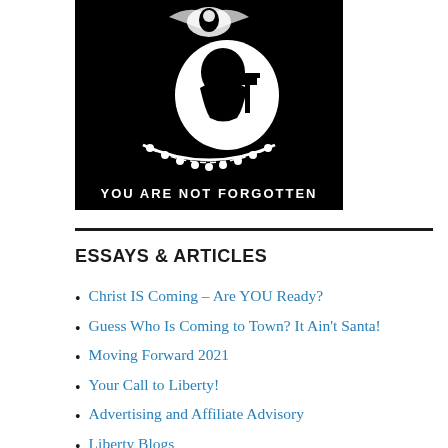[Figure (illustration): POW/MIA black flag logo showing silhouette of soldier's head against a white circle with a guard tower, surrounded by barbed wire and text reading 'YOU ARE NOT FORGOTTEN' at the bottom, with an eagle emblem at the top.]
ESSAYS & ARTICLES
Christ IS Coming – Are YOU Ready?
Guess Who Is Coming to Town? It Ain't Santa!
Moving Forward 2021
Your Call to Liberty!
Advertising and Affiliate Advisory
Liberty Blogs